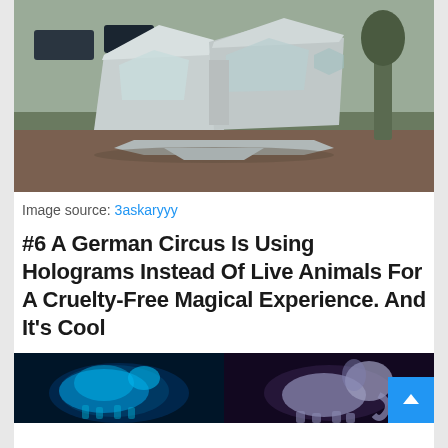[Figure (photo): A futuristic modular geometric shelter or pod structure made of grey/silver material with angular pentagonal shapes, sitting outdoors on grass/dirt with cars and trees in the background]
Image source: 3askaryyy
#6 A German Circus Is Using Holograms Instead Of Live Animals For A Cruelty-Free Magical Experience. And It's Cool
[Figure (photo): Two hologram images side by side: left shows a glowing blue holographic horse, right shows a purple/grey holographic elephant, both displayed in a dark circus environment]